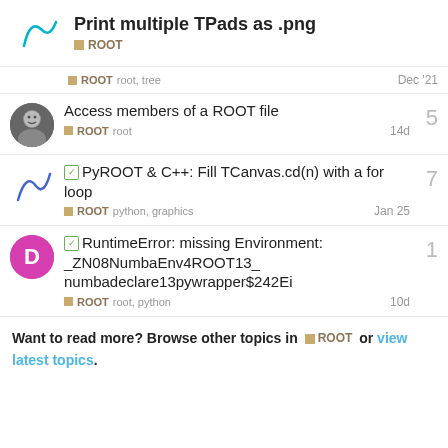Print multiple TPads as .png
ROOT
ROOT  root, tree  Dec '21
Access members of a ROOT file  ROOT  root  14d  5
[solved] PyROOT & C++: Fill TCanvas.cd(n) with a for loop  ROOT  python, graphics  Jan 25  7
[solved] RuntimeError: missing Environment: _ZN08NumbaEnv4ROOT13_numbadeclare13pywrapper$242Ei  ROOT  root, python  10d  1
Want to read more? Browse other topics in ROOT or view latest topics.